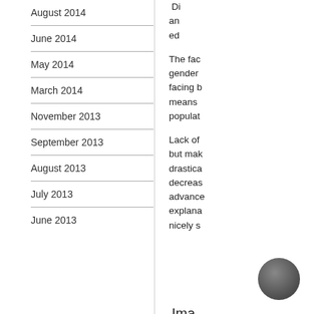August 2014
June 2014
May 2014
March 2014
November 2013
September 2013
August 2013
July 2013
June 2013
The fac gender facing b means populat
Lack of but mak drastica decreas advance explana nicely s
[Figure (photo): Circular author profile photo of a man in a suit]
Ima